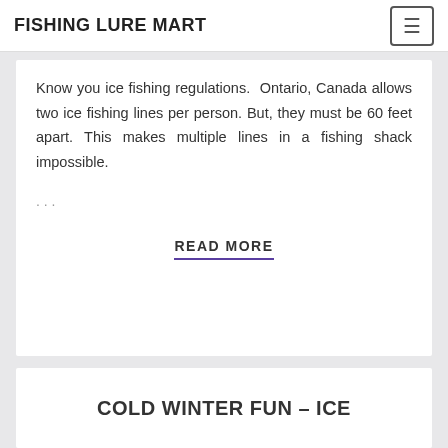FISHING LURE MART
Know you ice fishing regulations.  Ontario, Canada allows two ice fishing lines per person. But, they must be 60 feet apart. This makes multiple lines in a fishing shack impossible.
...
READ MORE
COLD WINTER FUN – ICE